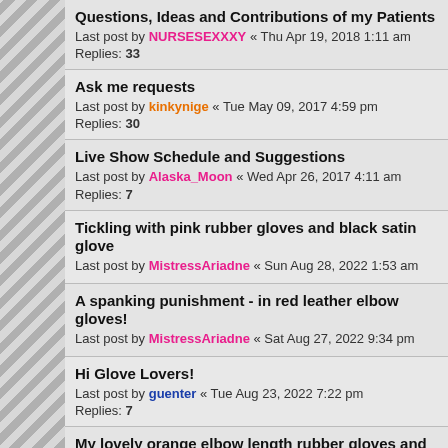Questions, Ideas and Contributions of my Patients
Last post by NURSESEXXXY « Thu Apr 19, 2018 1:11 am
Replies: 33
Ask me requests
Last post by kinkynige « Tue May 09, 2017 4:59 pm
Replies: 30
Live Show Schedule and Suggestions
Last post by Alaska_Moon « Wed Apr 26, 2017 4:11 am
Replies: 7
Tickling with pink rubber gloves and black satin glove
Last post by MistressAriadne « Sun Aug 28, 2022 1:53 am
A spanking punishment - in red leather elbow gloves!
Last post by MistressAriadne « Sat Aug 27, 2022 9:34 pm
Hi Glove Lovers!
Last post by guenter « Tue Aug 23, 2022 7:22 pm
Replies: 7
My lovely orange elbow length rubber gloves and shiny
Last post by Phil Ibert « Thu Aug 04, 2022 2:35 pm